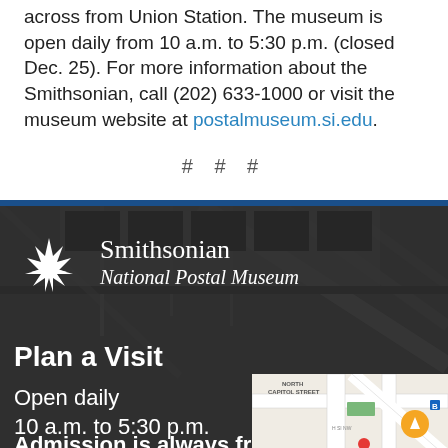across from Union Station. The museum is open daily from 10 a.m. to 5:30 p.m. (closed Dec. 25). For more information about the Smithsonian, call (202) 633-1000 or visit the museum website at postalmuseum.si.edu.
# # #
[Figure (photo): Smithsonian National Postal Museum building interior/exterior photo with dark overlay, showing architectural glass ceiling and steel structure. Smithsonian starburst logo and museum name text overlaid. Plan a Visit section with hours and map thumbnail.]